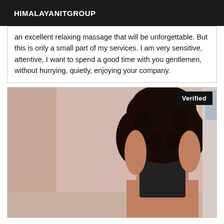HIMALAYANITGROUP
an excellent relaxing massage that will be unforgettable. But this is only a small part of my services. I am very sensitive, attentive, I want to spend a good time with you gentlemen, without hurrying, quietly, enjoying your company.
[Figure (photo): A person photographed from behind, with curly hair, wearing dark lingerie, standing in a room. A 'Verified' badge appears in the top-right corner of the image.]